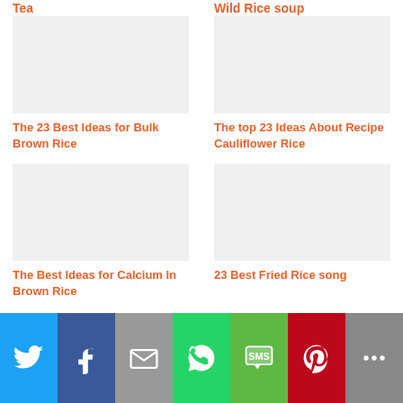Tea
Wild Rice soup
The 23 Best Ideas for Bulk Brown Rice
The top 23 Ideas About Recipe Cauliflower Rice
The Best Ideas for Calcium In Brown Rice
23 Best Fried Rice song
Share buttons: Twitter, Facebook, Email, WhatsApp, SMS, Pinterest, More